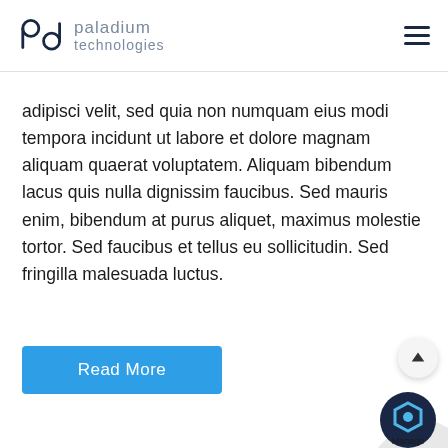[Figure (logo): Paladium Technologies logo with stylized 'pd' letters and company name in light gray]
adipisci velit, sed quia non numquam eius modi tempora incidunt ut labore et dolore magnam aliquam quaerat voluptatem. Aliquam bibendum lacus quis nulla dignissim faucibus. Sed mauris enim, bibendum at purus aliquet, maximus molestie tortor. Sed faucibus et tellus eu sollicitudin. Sed fringilla malesuada luctus.
[Figure (other): Blue 'Read More' button]
[Figure (other): Scroll-to-top arrow button and page curl with Manage badge in bottom right corner]